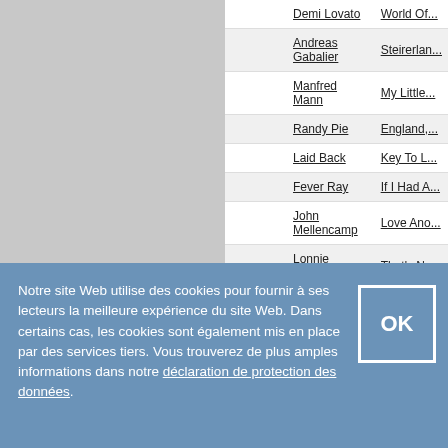|  | Artist | Song (partial) |
| --- | --- | --- |
|  | Demi Lovato | World Of... |
|  | Andreas Gabalier | Steirerlan... |
|  | Manfred Mann | My Little... |
|  | Randy Pie | England,... |
|  | Laid Back | Key To L... |
|  | Fever Ray | If I Had A... |
|  | John Mellencamp | Love Ano... |
|  | Lonnie Gordon | That's No... |
|  | Amel Bent | Cette idé... |
|  | Maria Mena | Takes On... |
|  | Example | Micropho... |
|  | DJ Rebel feat. Jessy | Think Ab... |
|  | Robbie Williams | Reverse... |
|  | Scorpions | When Yo... |
|  | Lady A | What A S... |
|  | Faouzia / John Legend | Minefield... |
|  | Ashe & Finneas | Till Forev... |
|  | London Grammar | Missing... |
Notre site Web utilise des cookies pour fournir à ses lecteurs la meilleure expérience du site Web. Dans certains cas, les cookies sont également mis en place par des services tiers. Vous trouverez de plus amples informations dans notre déclaration de protection des données.